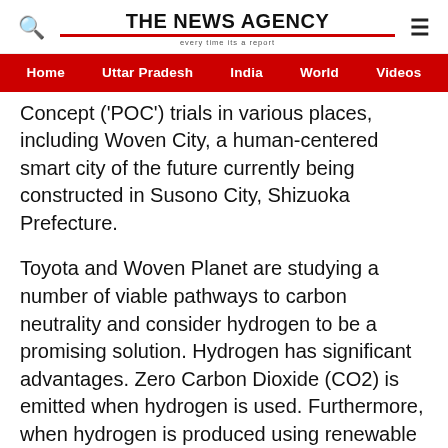THE NEWS AGENCY
Home  Uttar Pradesh  India  World  Videos
Concept ('POC') trials in various places, including Woven City, a human-centered smart city of the future currently being constructed in Susono City, Shizuoka Prefecture.
Toyota and Woven Planet are studying a number of viable pathways to carbon neutrality and consider hydrogen to be a promising solution. Hydrogen has significant advantages. Zero Carbon Dioxide (CO2) is emitted when hydrogen is used. Furthermore, when hydrogen is produced using renewable energy sources such as wind, solar, geothermal, and biomass, CO2 emissions are